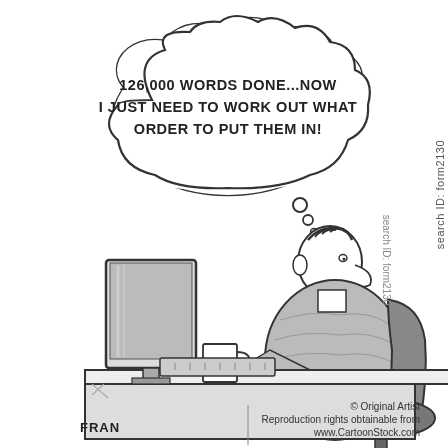[Figure (illustration): Black and white cartoon showing a man sitting at a desk with a computer monitor, looking upward with a thought bubble. The thought bubble contains the text: '126,000 WORDS DONE...NOW I JUST NEED TO WORK OUT WHAT ORDER TO PUT THEM IN!' The man is wearing a grey shirt, sitting on an office chair. On the desk there is a coffee mug and keyboard. A monitor is visible on the left. The artist signature 'FRAN' appears at the bottom left. The watermark reads '© Original Artist / Reproduction rights obtainable from / www.CartoonStock.com'. Side text reads 'search ID: form2130'.]
© Original Artist
Reproduction rights obtainable from
www.CartoonStock.com
search ID: form2130